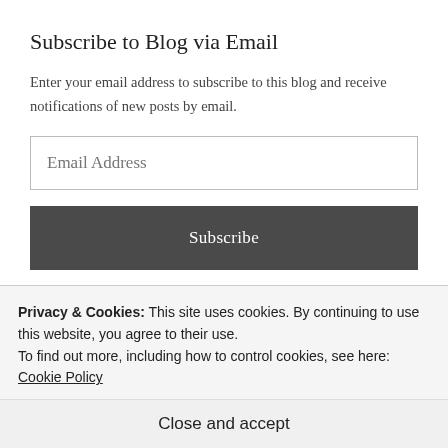Subscribe to Blog via Email
Enter your email address to subscribe to this blog and receive notifications of new posts by email.
Email Address
Subscribe
Join 79 other followers
Privacy & Cookies: This site uses cookies. By continuing to use this website, you agree to their use.
To find out more, including how to control cookies, see here: Cookie Policy
Close and accept